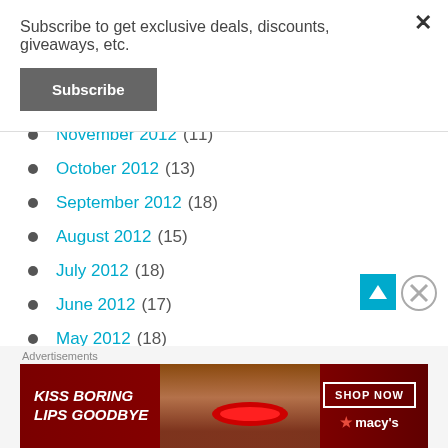Subscribe to get exclusive deals, discounts, giveaways, etc.
Subscribe
November 2012 (11)
October 2012 (13)
September 2012 (18)
August 2012 (15)
July 2012 (18)
June 2012 (17)
May 2012 (18)
Advertisements
[Figure (photo): Macy's advertisement banner: KISS BORING LIPS GOODBYE with SHOP NOW button and Macy's star logo, featuring a woman's face with red lips]